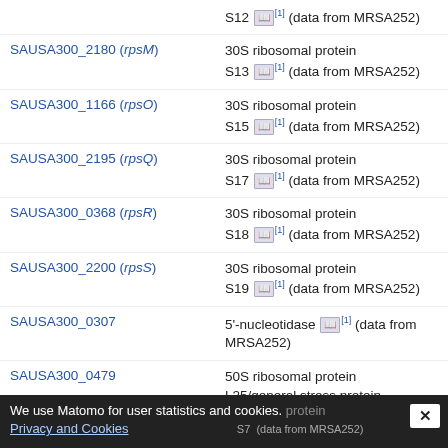S12 [1] (data from MRSA252)
SAUSA300_2180 (rpsM) — 30S ribosomal protein S13 [1] (data from MRSA252)
SAUSA300_1166 (rpsO) — 30S ribosomal protein S15 [1] (data from MRSA252)
SAUSA300_2195 (rpsQ) — 30S ribosomal protein S17 [1] (data from MRSA252)
SAUSA300_0368 (rpsR) — 30S ribosomal protein S18 [1] (data from MRSA252)
SAUSA300_2200 (rpsS) — 30S ribosomal protein S19 [1] (data from MRSA252)
SAUSA300_0307 — 5'-nucleotidase [1] (data from MRSA252)
SAUSA300_0479 — 50S ribosomal protein L25/general stress protein Ctc [1] (data from MRSA252)
SAUSA300_0517 — RNA methyltransferase [1] (data from MRSA252)
SAUSA300_0631 — S7 (data from MRSA252)
We use Matomo for user statistics and cookies. Privacy and Cookies X